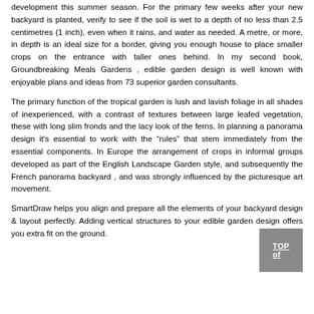development this summer season. For the primary few weeks after your new backyard is planted, verify to see if the soil is wet to a depth of no less than 2.5 centimetres (1 inch), even when it rains, and water as needed. A metre, or more, in depth is an ideal size for a border, giving you enough house to place smaller crops on the entrance with taller ones behind. In my second book, Groundbreaking Meals Gardens , edible garden design is well known with enjoyable plans and ideas from 73 superior garden consultants.
The primary function of the tropical garden is lush and lavish foliage in all shades of inexperienced, with a contrast of textures between large leafed vegetation, these with long slim fronds and the lacy look of the ferns. In planning a panorama design it's essential to work with the “rules” that stem immediately from the essential components. In Europe the arrangement of crops in informal groups developed as part of the English Landscape Garden style, and subsequently the French panorama backyard , and was strongly influenced by the picturesque art movement.
SmartDraw helps you align and prepare all the elements of your backyard design & layout perfectly. Adding vertical structures to your edible garden design offers you extra fit on the ground.